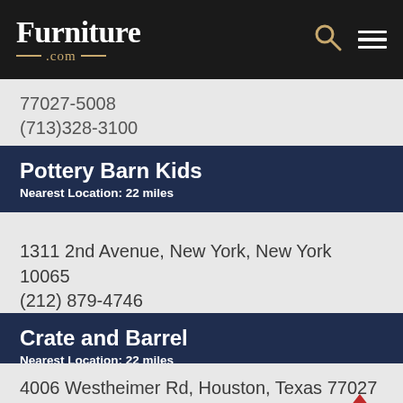Furniture.com
77027-5008
(713)328-3100
Pottery Barn Kids
Nearest Location: 22 miles
1311 2nd Avenue, New York, New York 10065
(212) 879-4746
Crate and Barrel
Nearest Location: 22 miles
4006 Westheimer Rd, Houston, Texas 77027
(713) 490-6400